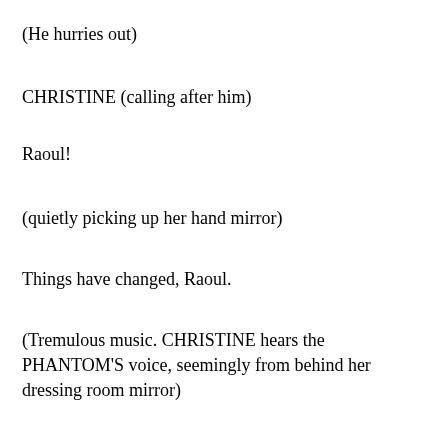(He hurries out)
CHRISTINE (calling after him)
Raoul!
(quietly picking up her hand mirror)
Things have changed, Raoul.
(Tremulous music. CHRISTINE hears the PHANTOM'S voice, seemingly from behind her dressing room mirror)